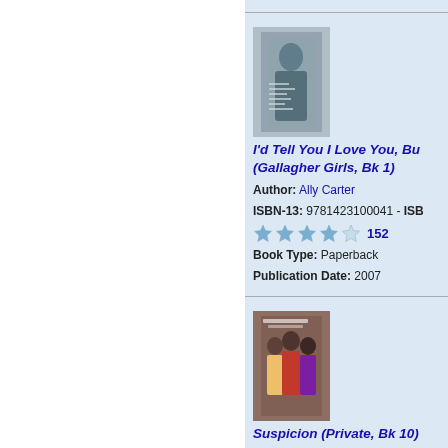[Figure (photo): Book cover thumbnail for I'd Tell You I Love You, But Then I'd Have to Kill You (Gallagher Girls, Bk 1)]
I'd Tell You I Love You, Bu... (Gallagher Girls, Bk 1)
Author: Ally Carter
ISBN-13: 9781423100041 - ISB...
★★★★☆ 152
Book Type: Paperback
Publication Date: 2007
[Figure (photo): Book cover thumbnail for Suspicion (Private, Bk 10)]
Suspicion (Private, Bk 10)
Author: Kate Brian
ISBN-13: 9781416958857 - ISB...
★★★★☆ 8
Book Type: Paperback
Publication Date: 2009
The Market's bargain prices o...